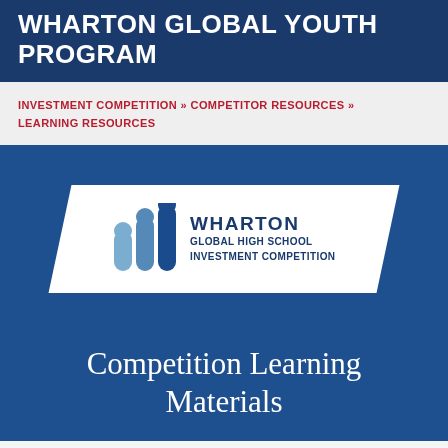WHARTON GLOBAL YOUTH PROGRAM
INVESTMENT COMPETITION » COMPETITOR RESOURCES » LEARNING RESOURCES
[Figure (logo): Wharton Global High School Investment Competition logo — three stacked pill-shaped bar icons in blue shades, inside a white parallelogram banner on a navy blue background, with text WHARTON GLOBAL HIGH SCHOOL INVESTMENT COMPETITION]
Competition Learning Materials
Teacher and Student